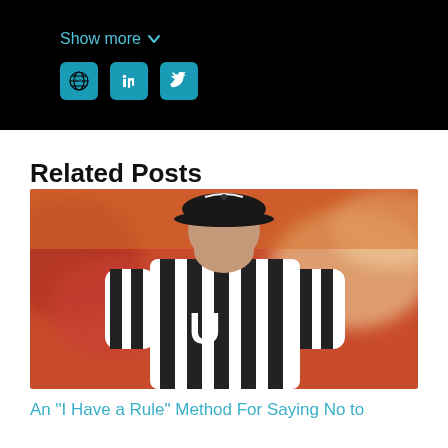[Figure (screenshot): Black panel with 'Show more' text and social media icons (globe, LinkedIn, Twitter) in teal/cyan color]
Related Posts
[Figure (photo): A football referee seen from behind, wearing a black and white striped uniform with the letter U on the back, and a black cap, with a blurred crowd in the background]
An "I Have a Rule" Method For Saying No to